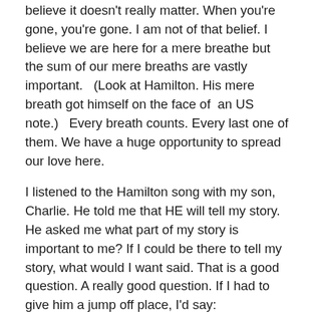believe it doesn't really matter.  When you're gone, you're gone.  I am not of that belief.  I believe we are here for a mere breathe but the sum of our mere breaths are vastly important.   (Look at Hamilton.  His mere breath got himself on the face of  an US note.)   Every breath counts.  Every last one of them.  We have a huge opportunity to spread our love here.
I listened to the Hamilton song with my son, Charlie.  He told me that HE will tell my story.  He asked me what part of my story is important to me?  If I could be there to tell my story, what would I want said.  That is a good question.  A really good question.  If I had to give him a jump off place, I'd say:
In all things, she tried desperately to love Jesus………..
If you get a chance, go see Hamilton.